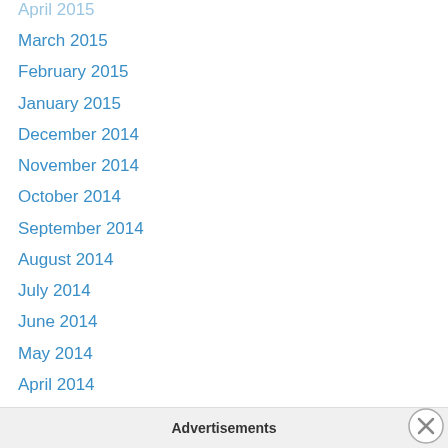March 2015
February 2015
January 2015
December 2014
November 2014
October 2014
September 2014
August 2014
July 2014
June 2014
May 2014
April 2014
March 2014
February 2014
January 2014
December 2013
November 2013
October 2013
Advertisements